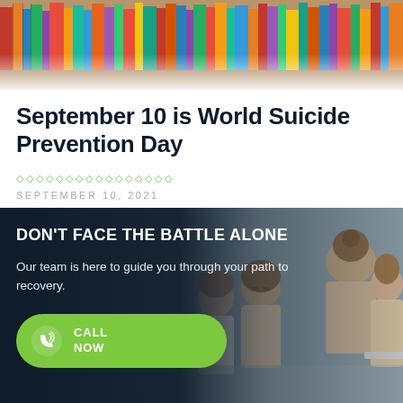[Figure (photo): Colorful library bookshelf with many books of various colors as decorative header image]
September 10 is World Suicide Prevention Day
◇◇◇◇◇◇◇◇◇◇◇◇◇◇◇◇
SEPTEMBER 10, 2021
[Figure (infographic): Dark banner with text 'DON'T FACE THE BATTLE ALONE' and subtext 'Our team is here to guide you through your path to recovery.' with a green CALL NOW button and a background photo of a therapy group session with women sitting together]